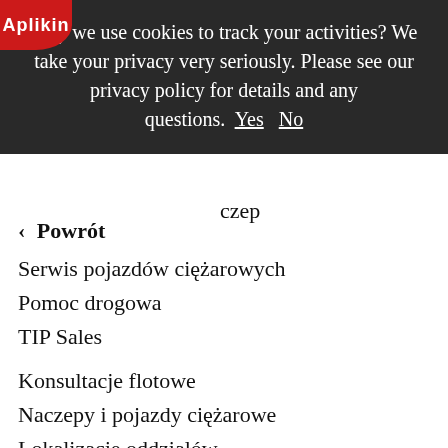[Figure (screenshot): Cookie consent banner with dark background, logo top-left, text asking permission to track activities, with Yes and No underlined links]
May we use cookies to track your activities? We take your privacy very seriously. Please see our privacy policy for details and any questions. Yes   No
czep
< Powrót
Serwis pojazdów ciężarowych
Pomoc drogowa
TIP Sales
Konsultacje flotowe
Naczepy i pojazdy ciężarowe
Lokalizacje oddziałów
Kariera
O Nas
Zarząd TIP
Historia
Aktualności